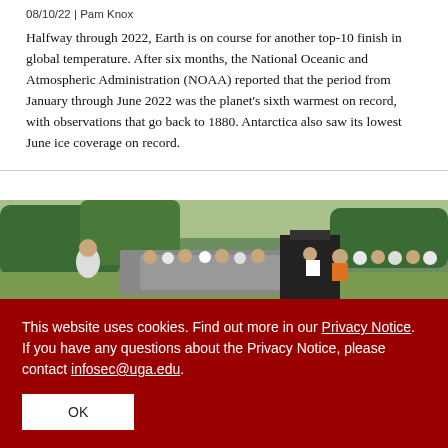08/10/22 | Pam Knox
Halfway through 2022, Earth is on course for another top-10 finish in global temperature. After six months, the National Oceanic and Atmospheric Administration (NOAA) reported that the period from January through June 2022 was the planet's sixth warmest on record, with observations that go back to 1880. Antarctica also saw its lowest June ice coverage on record.
[Figure (photo): Outdoor gathering with people standing near farm equipment in a green field with trees in the background.]
This website uses cookies. Find out more in our Privacy Notice. If you have any questions about the Privacy Notice, please contact infosec@uga.edu.
OK